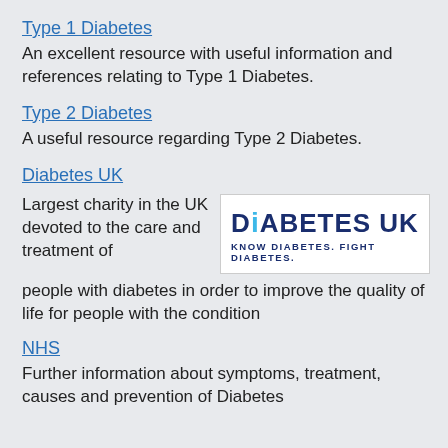Type 1 Diabetes
An excellent resource with useful information and references relating to Type 1 Diabetes.
Type 2 Diabetes
A useful resource regarding Type 2 Diabetes.
Diabetes UK
[Figure (logo): Diabetes UK logo with text 'DiABETES UK' and tagline 'KNOW DIABETES. FIGHT DIABETES.']
Largest charity in the UK devoted to the care and treatment of people with diabetes in order to improve the quality of life for people with the condition
NHS
Further information about symptoms, treatment, causes and prevention of Diabetes